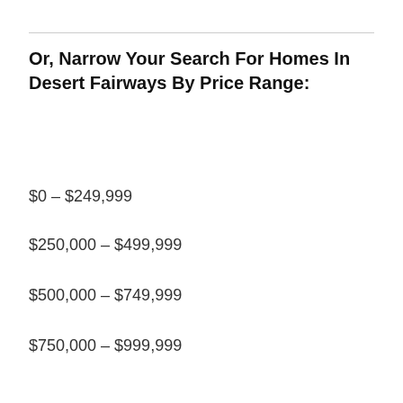Or, Narrow Your Search For Homes In Desert Fairways By Price Range:
$0 – $249,999
$250,000 – $499,999
$500,000 – $749,999
$750,000 – $999,999